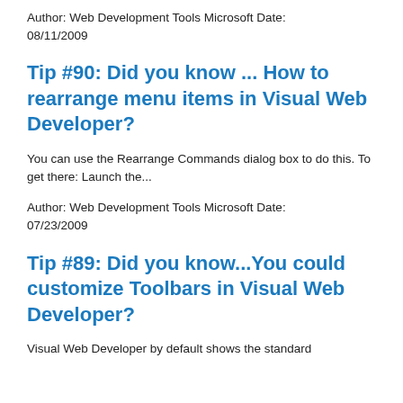Author: Web Development Tools Microsoft Date: 08/11/2009
Tip #90: Did you know ... How to rearrange menu items in Visual Web Developer?
You can use the Rearrange Commands dialog box to do this. To get there: Launch the...
Author: Web Development Tools Microsoft Date: 07/23/2009
Tip #89: Did you know...You could customize Toolbars in Visual Web Developer?
Visual Web Developer by default shows the standard